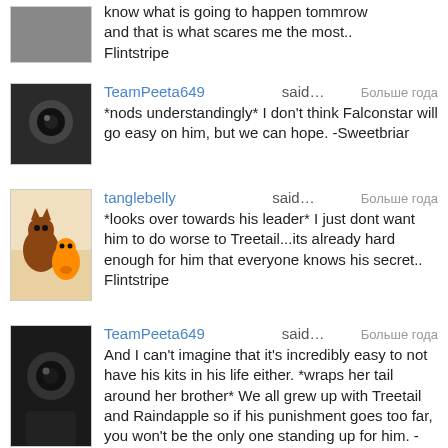know what is going to happen tommrow and that is what scares me the most.. Flintstripe
TeamPeeta649 said… *nods understandingly* I don't think Falconstar will go easy on him, but we can hope. -Sweetbriar   Больше года
tanglebelly said… *looks over towards his leader* I just dont want him to do worse to Treetail...its already hard enough for him that everyone knows his secret.. Flintstripe   Больше года
TeamPeeta649 said… And I can't imagine that it's incredibly easy to not have his kits in his life either. *wraps her tail around her brother* We all grew up with Treetail and Raindapple so if his punishment goes too far, you won't be the only one standing up for him. -Sweetbriar   Больше года
*nods* She is right. I do like everyone on the...